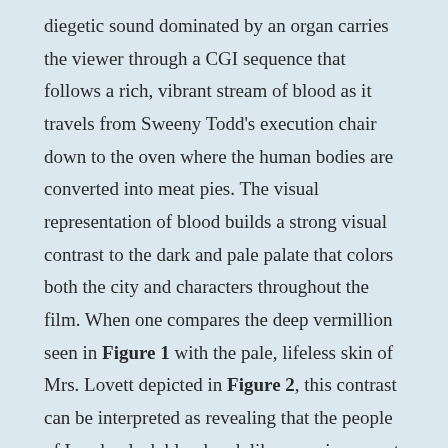diegetic sound dominated by an organ carries the viewer through a CGI sequence that follows a rich, vibrant stream of blood as it travels from Sweeny Todd's execution chair down to the oven where the human bodies are converted into meat pies. The visual representation of blood builds a strong visual contrast to the dark and pale palate that colors both the city and characters throughout the film. When one compares the deep vermillion seen in Figure 1 with the pale, lifeless skin of Mrs. Lovett depicted in Figure 2, this contrast can be interpreted as revealing that the people of London lack blood and, like vampires, must consume this essence from the weaker, lesser individuals within the society in order to thrive. Interestingly Figure 1 operates to strengthen this underlying metaphor by the placement of the blood in between the gears. By placing